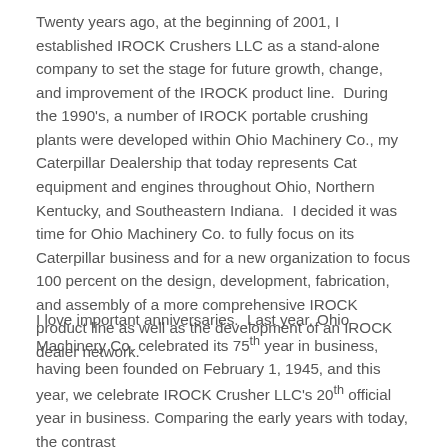Twenty years ago, at the beginning of 2001, I established IROCK Crushers LLC as a stand-alone company to set the stage for future growth, change, and improvement of the IROCK product line.  During the 1990's, a number of IROCK portable crushing plants were developed within Ohio Machinery Co., my Caterpillar Dealership that today represents Cat equipment and engines throughout Ohio, Northern Kentucky, and Southeastern Indiana.  I decided it was time for Ohio Machinery Co. to fully focus on its Caterpillar business and for a new organization to focus 100 percent on the design, development, fabrication, and assembly of a more comprehensive IROCK product line as well as the development of an IROCK dealer network.
I love important anniversaries.  Last year, Ohio Machinery Co. celebrated its 75th year in business, having been founded on February 1, 1945, and this year, we celebrate IROCK Crusher LLC's 20th official year in business. Comparing the early years with today, the contrast